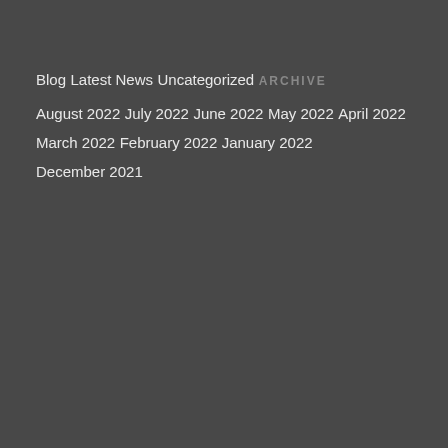Blog
Latest News
Uncategorized
ARCHIVE
August 2022
July 2022
June 2022
May 2022
April 2022
March 2022
February 2022
January 2022
December 2021